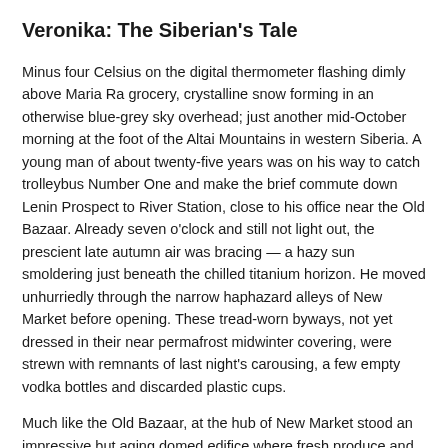Veronika: The Siberian's Tale
Minus four Celsius on the digital thermometer flashing dimly above Maria Ra grocery, crystalline snow forming in an otherwise blue-grey sky overhead; just another mid-October morning at the foot of the Altai Mountains in western Siberia. A young man of about twenty-five years was on his way to catch trolleybus Number One and make the brief commute down Lenin Prospect to River Station, close to his office near the Old Bazaar. Already seven o'clock and still not light out, the prescient late autumn air was bracing — a hazy sun smoldering just beneath the chilled titanium horizon. He moved unhurriedly through the narrow haphazard alleys of New Market before opening. These tread-worn byways, not yet dressed in their near permafrost midwinter covering, were strewn with remnants of last night's carousing, a few empty vodka bottles and discarded plastic cups.
Much like the Old Bazaar, at the hub of New Market stood an impressive but aging domed edifice where fresh produce and other edibles were offered by a flock of anxious hovering vendors. Butchers were also there on the selling floor, carving up fresh cuts of meat — the sight and smell of hoof, claw, and carcass hanging heavy in the stagnant air of the market — like a small abattoir.